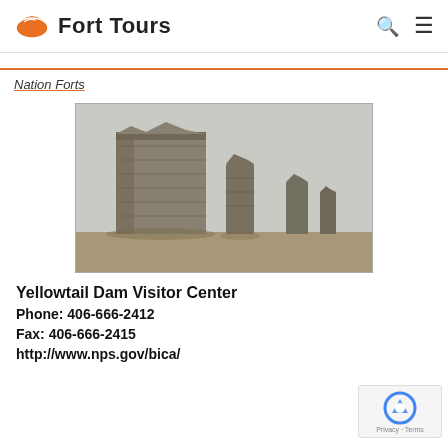Fort Tours
Nation Forts
[Figure (photo): Black and white historical photograph showing ruins of adobe or stone fort walls in a desert landscape. A large crumbling wall stands prominently on the left, with several smaller deteriorating pillars or columns visible in the background against a flat, arid terrain.]
Yellowtail Dam Visitor Center
Phone: 406-666-2412
Fax: 406-666-2415
http://www.nps.gov/bica/